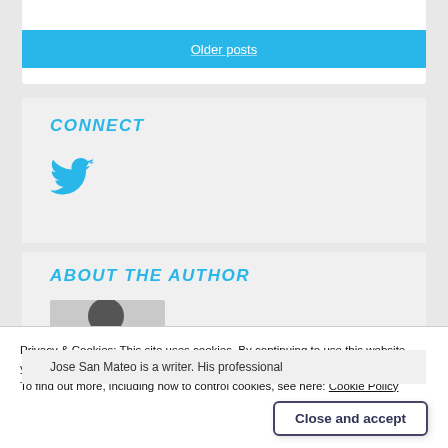Older posts
CONNECT
[Figure (logo): Twitter bird icon in sky blue]
ABOUT THE AUTHOR
[Figure (photo): Author profile photo thumbnail, partially visible, gray background with dark circle]
Privacy & Cookies: This site uses cookies. By continuing to use this website, you agree to their use.
To find out more, including how to control cookies, see here: Cookie Policy
Close and accept
Jose San Mateo is a writer. His professional